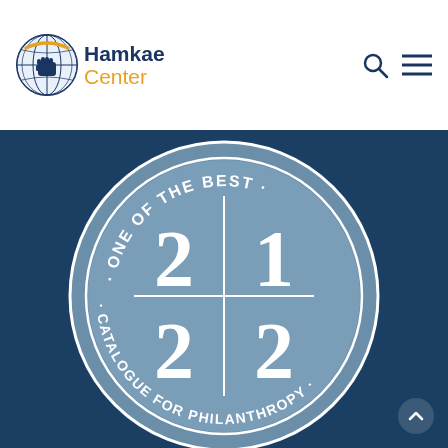[Figure (logo): Hamkae Center logo with circular globe/fist icon, text 'Hamkae' in dark blue and 'Center' in orange]
[Figure (other): Catalogue for Philanthropy '21/22 One of the Best' circular badge/seal on dark blue background]